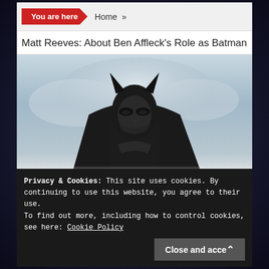You are here   Home »
Matt Reeves: About Ben Affleck's Role as Batman
[Figure (photo): Ben Affleck as Batman in costume, dark suit with bat emblem, looking straight ahead against a cloudy sky background]
We use cookies on our website to give you the most
Privacy & Cookies: This site uses cookies. By continuing to use this website, you agree to their use.
To find out more, including how to control cookies, see here: Cookie Policy
Close and accept